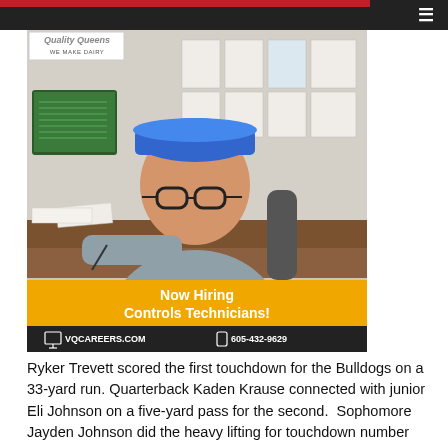☰
[Figure (photo): An older man wearing a blue hard hat and glasses, sitting at a desk in an industrial/dairy facility. He is dressed in a grey button-up shirt. Behind him are monitors and papers on the wall. The ad promotes hiring Controls Technicians at VQCAREERS.COM, phone 605-432-9629.]
Ryker Trevett scored the first touchdown for the Bulldogs on a 33-yard run. Quarterback Kaden Krause connected with junior Eli Johnson on a five-yard pass for the second.  Sophomore Jayden Johnson did the heavy lifting for touchdown number three.  He pirated the ball from Webster and headed home, but was taken down just short of the goal at the four-yard line. Krause sneaked it into the endzone and the Dawgs were up by another six points.